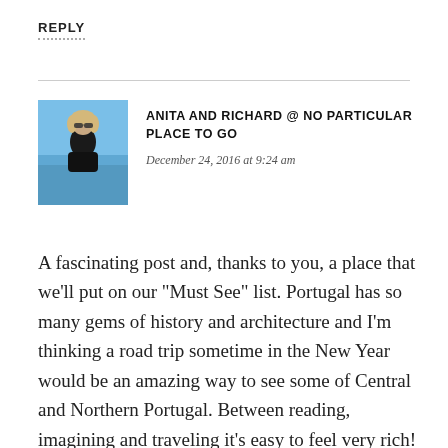REPLY
[Figure (photo): Small square avatar photo of a woman with blonde hair wearing sunglasses and a black top, outdoors with blue sky background]
ANITA AND RICHARD @ NO PARTICULAR PLACE TO GO
December 24, 2016 at 9:24 am
A fascinating post and, thanks to you, a place that we’ll put on our “Must See” list. Portugal has so many gems of history and architecture and I’m thinking a road trip sometime in the New Year would be an amazing way to see some of Central and Northern Portugal. Between reading, imagining and traveling it’s easy to feel very rich! Anita